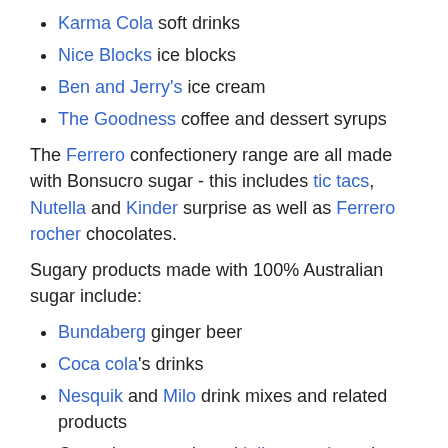Karma Cola soft drinks
Nice Blocks ice blocks
Ben and Jerry's ice cream
The Goodness coffee and dessert syrups
The Ferrero confectionery range are all made with Bonsucro sugar - this includes tic tacs, Nutella and Kinder surprise as well as Ferrero rocher chocolates.
Sugary products made with 100% Australian sugar include:
Bundaberg ginger beer
Coca cola's drinks
Nesquik and Milo drink mixes and related products
Countdown own brand jelly crystals and other products – look for a 'product of Australia logo' with a high percentage number
Arnott's biscuits